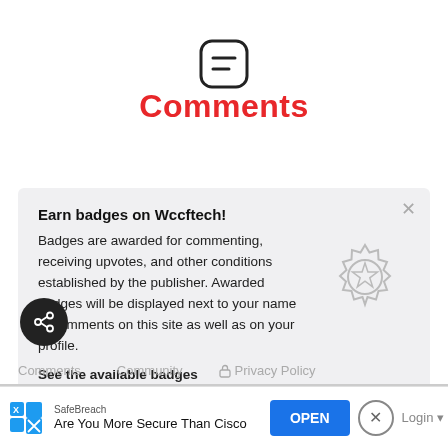[Figure (illustration): Chat/comment icon — rounded square outline with two horizontal lines inside, resembling a speech bubble UI icon]
Comments
Earn badges on Wccftech!
Badges are awarded for commenting, receiving upvotes, and other conditions established by the publisher. Awarded badges will be displayed next to your name in comments on this site as well as on your profile.
See the available badges
[Figure (illustration): Gray badge/seal icon with a star in the center, decorative border around edge]
[Figure (illustration): Black circular share/export icon button]
Comments   Community   🔒 Privacy Policy
SafeBreach
Are You More Secure Than Cisco
OPEN
Login